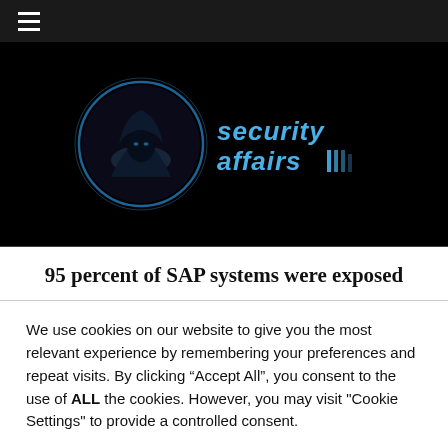☰ (hamburger menu)
[Figure (logo): Security Affairs website logo: hooded figure in a blue-glowing circle on black background, with 'security affairs' in blue tech-style text to the right]
95 percent of SAP systems were exposed
We use cookies on our website to give you the most relevant experience by remembering your preferences and repeat visits. By clicking “Accept All”, you consent to the use of ALL the cookies. However, you may visit "Cookie Settings" to provide a controlled consent.
Cookie Settings | Accept All